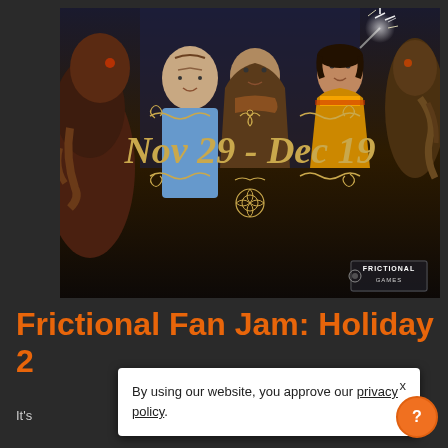[Figure (illustration): Promotional banner for Frictional Fan Jam: Holiday event, showing dark fantasy characters (monster creature on left, a man in blue shirt, a central female character, a woman with sparkler, and a creature on right) with golden decorative text reading 'Nov 29 - Dec 19' and the Frictional Games logo in bottom right corner.]
Frictional Fan Jam: Holiday 2...
It's...
By using our website, you approve our privacy policy. X